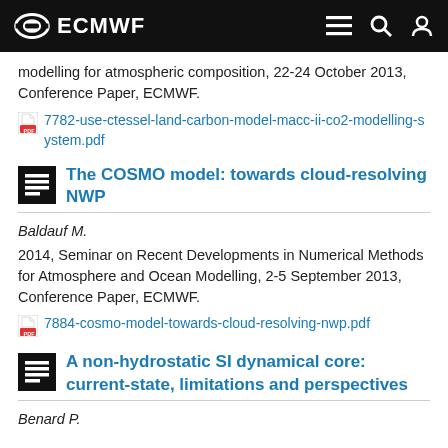ECMWF
modelling for atmospheric composition, 22-24 October 2013, Conference Paper, ECMWF.
7782-use-ctessel-land-carbon-model-macc-ii-co2-modelling-system.pdf
The COSMO model: towards cloud-resolving NWP
Baldauf M.
2014, Seminar on Recent Developments in Numerical Methods for Atmosphere and Ocean Modelling, 2-5 September 2013, Conference Paper, ECMWF.
7884-cosmo-model-towards-cloud-resolving-nwp.pdf
A non-hydrostatic SI dynamical core: current-state, limitations and perspectives
Benard P.